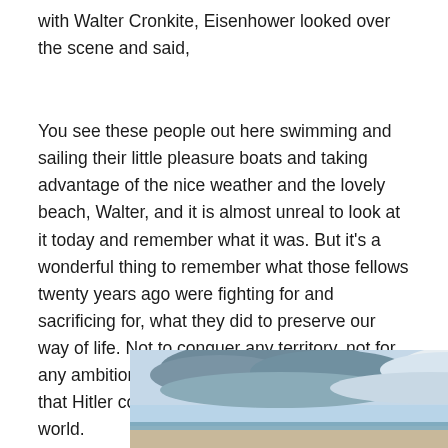with Walter Cronkite, Eisenhower looked over the scene and said,
You see these people out here swimming and sailing their little pleasure boats and taking advantage of the nice weather and the lovely beach, Walter, and it is almost unreal to look at it today and remember what it was. But it’s a wonderful thing to remember what those fellows twenty years ago were fighting for and sacrificing for, what they did to preserve our way of life. Not to conquer any territory, not for any ambitions of their own. But to make sure that Hitler could not destroy freedom in the world.
[Figure (photo): A photograph of a beach scene showing a wide sky with white clouds, a strip of ocean water, and a sandy shore.]